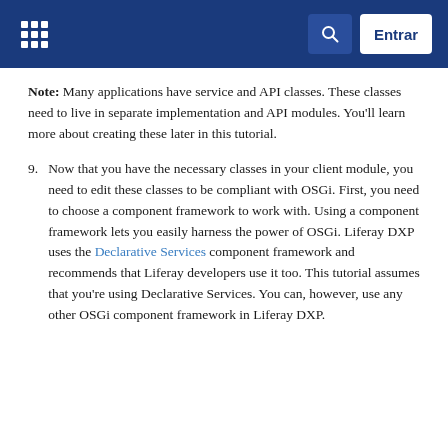Liferay DXP documentation header with grid icon, search button, and Entrar button
Note: Many applications have service and API classes. These classes need to live in separate implementation and API modules. You'll learn more about creating these later in this tutorial.
9. Now that you have the necessary classes in your client module, you need to edit these classes to be compliant with OSGi. First, you need to choose a component framework to work with. Using a component framework lets you easily harness the power of OSGi. Liferay DXP uses the Declarative Services component framework and recommends that Liferay developers use it too. This tutorial assumes that you're using Declarative Services. You can, however, use any other OSGi component framework in Liferay DXP.